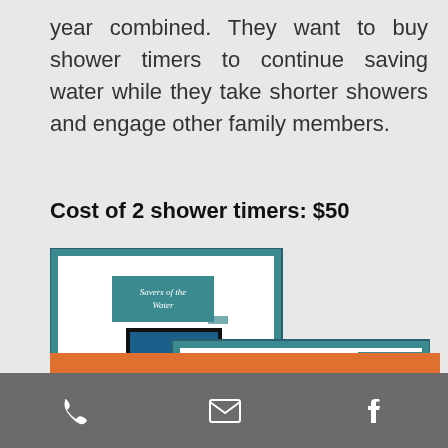year combined. They want to buy shower timers to continue saving water while they take shorter showers and engage other family members.
Cost of 2 shower timers: $50
[Figure (screenshot): Screenshot of a presentation slide and bar chart about water conservation - 'Savers of the Water']
Phone, Email, Facebook icons